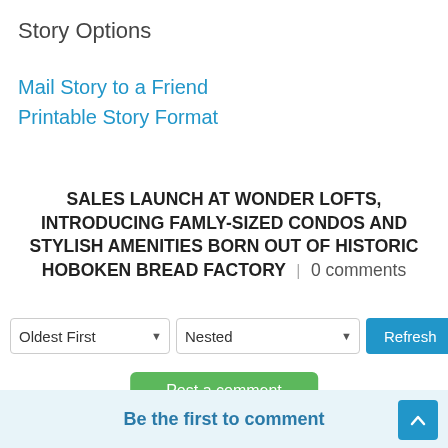Story Options
Mail Story to a Friend
Printable Story Format
SALES LAUNCH AT WONDER LOFTS, INTRODUCING FAMLY-SIZED CONDOS AND STYLISH AMENITIES BORN OUT OF HISTORIC HOBOKEN BREAD FACTORY | 0 comments
Oldest First / Nested / Refresh (controls)
Post a comment
Be the first to comment